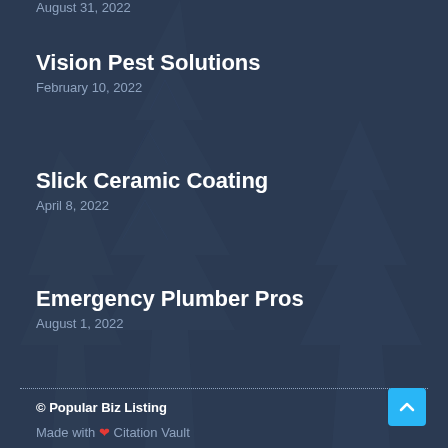Vision Pest Solutions
February 10, 2022
Slick Ceramic Coating
April 8, 2022
Emergency Plumber Pros
August 1, 2022
© Popular Biz Listing
Made with ❤ Citation Vault